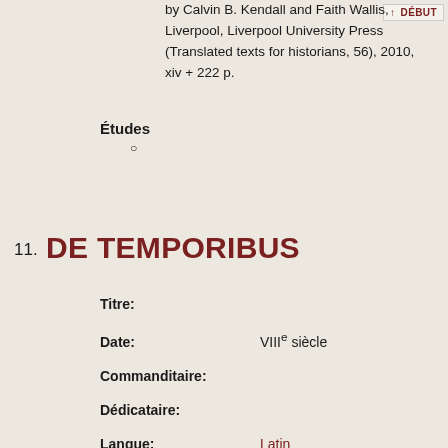by Calvin B. Kendall and Faith Wallis, Liverpool, Liverpool University Press (Translated texts for historians, 56), 2010, xiv + 222 p.
Études
○
11. DE TEMPORIBUS
Titre:
Date: VIIIe siècle
Commanditaire:
Dédicataire:
Langue: Latin
Genre:
Forme: